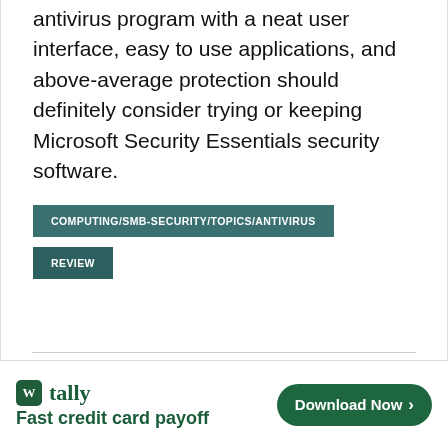antivirus program with a neat user interface, easy to use applications, and above-average protection should definitely consider trying or keeping Microsoft Security Essentials security software.
COMPUTING/SMB-SECURITY/TOPICS/ANTIVIRUS
REVIEW
[Figure (infographic): Tally advertisement banner: logo with 'W tally', tagline 'Fast credit card payoff', green 'Download Now' button with arrow, close/question mark icons]